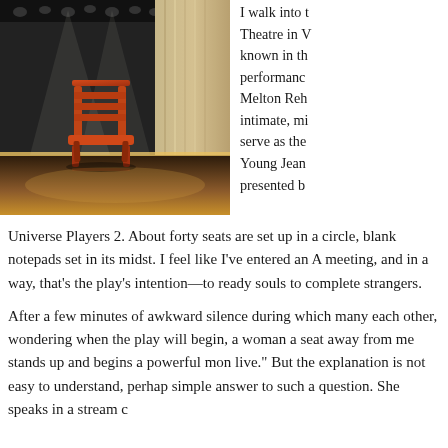[Figure (photo): A single red/orange chair on a theatre stage with dramatic curtains and stage lighting in the background.]
I walk into the Theatre in W known in th performance Melton Reh intimate, mi serve as the Young Jean presented b
Universe Players 2. About forty seats are set up in a circle, blank notepads set in its midst. I feel like I've entered an A meeting, and in a way, that's the play's intention—to ready souls to complete strangers.
After a few minutes of awkward silence during which many each other, wondering when the play will begin, a woman a seat away from me stands up and begins a powerful mon live." But the explanation is not easy to understand, perhap simple answer to such a question. She speaks in a stream c